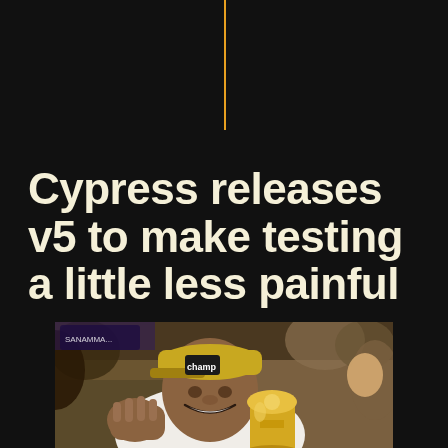Cypress releases v5 to make testing a little less painful
[Figure (photo): A smiling basketball player wearing a championship cap and white jersey, holding a golden trophy, surrounded by a crowd in an arena.]